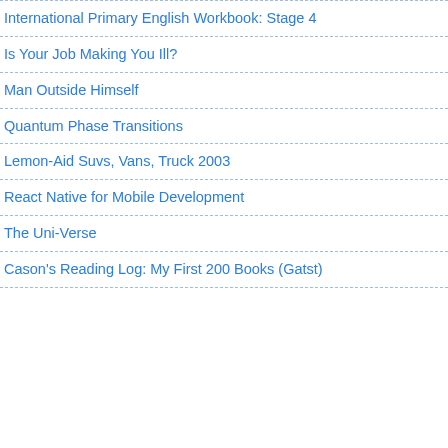International Primary English Workbook: Stage 4
Is Your Job Making You Ill?
Man Outside Himself
Quantum Phase Transitions
Lemon-Aid Suvs, Vans, Truck 2003
React Native for Mobile Development
The Uni-Verse
Cason's Reading Log: My First 200 Books (Gatst)